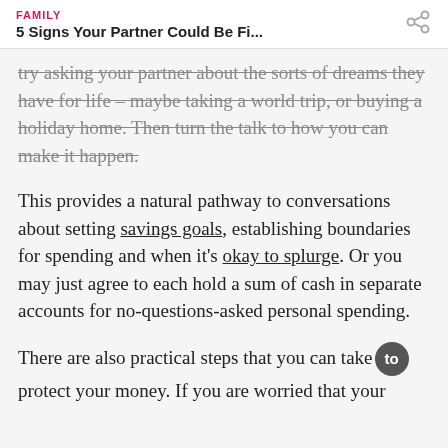FAMILY
5 Signs Your Partner Could Be Fi...
try asking your partner about the sorts of dreams they have for life – maybe taking a world trip, or buying a holiday home. Then turn the talk to how you can make it happen.
This provides a natural pathway to conversations about setting savings goals, establishing boundaries for spending and when it's okay to splurge. Or you may just agree to each hold a sum of cash in separate accounts for no-questions-asked personal spending.
There are also practical steps that you can take to protect your money. If you are worried that your